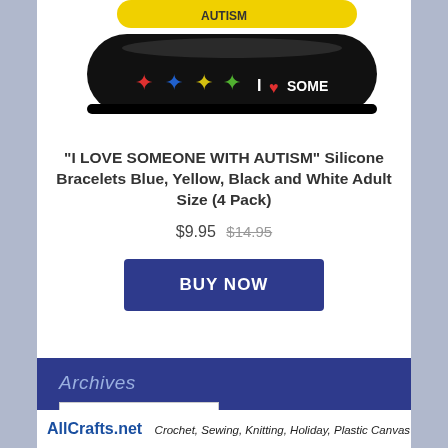[Figure (photo): Black silicone bracelet with colorful puzzle pieces and text 'I LOVE SOMEONE WITH AUTISM' partially visible, shown on white background]
"I LOVE SOMEONE WITH AUTISM" Silicone Bracelets Blue, Yellow, Black and White Adult Size (4 Pack)
$9.95  $14.95
BUY NOW
Archives
Select Month
AllCrafts.net  Crochet, Sewing, Knitting, Holiday, Plastic Canvas